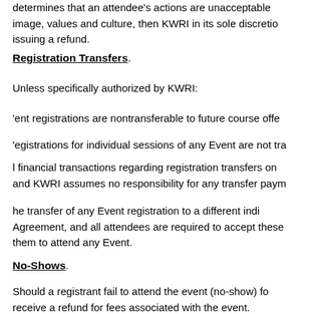determines that an attendee's actions are unacceptable image, values and culture, then KWRI in its sole discretion issuing a refund.
Registration Transfers.
Unless specifically authorized by KWRI:
ent registrations are nontransferable to future course offe
egistrations for individual sessions of any Event are not tra
l financial transactions regarding registration transfers on and KWRI assumes no responsibility for any transfer paym
he transfer of any Event registration to a different indi Agreement, and all attendees are required to accept these them to attend any Event.
No-Shows.
Should a registrant fail to attend the event (no-show) fo receive a refund for fees associated with the event.